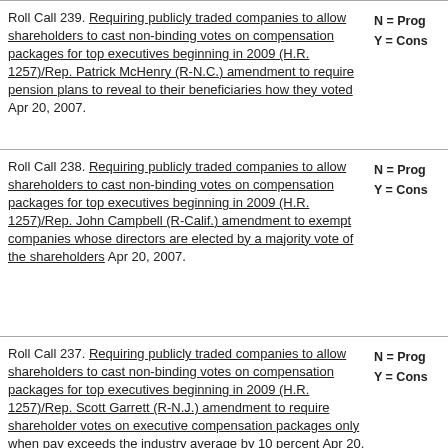Roll Call 239. Requiring publicly traded companies to allow shareholders to cast non-binding votes on compensation packages for top executives beginning in 2009 (H.R. 1257)/Rep. Patrick McHenry (R-N.C.) amendment to require pension plans to reveal to their beneficiaries how they voted Apr 20, 2007.
N = Prog
Y = Cons
Roll Call 238. Requiring publicly traded companies to allow shareholders to cast non-binding votes on compensation packages for top executives beginning in 2009 (H.R. 1257)/Rep. John Campbell (R-Calif.) amendment to exempt companies whose directors are elected by a majority vote of the shareholders Apr 20, 2007.
N = Prog
Y = Cons
Roll Call 237. Requiring publicly traded companies to allow shareholders to cast non-binding votes on compensation packages for top executives beginning in 2009 (H.R. 1257)/Rep. Scott Garrett (R-N.J.) amendment to require shareholder votes on executive compensation packages only when pay exceeds the industry average by 10 percent Apr 20, 2007.
N = Prog
Y = Cons